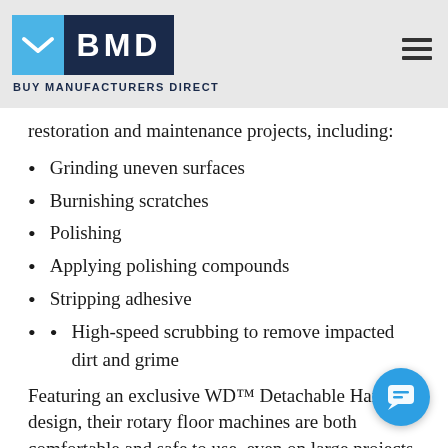BMD — BUY MANUFACTURERS DIRECT
restoration and maintenance projects, including:
Grinding uneven surfaces
Burnishing scratches
Polishing
Applying polishing compounds
Stripping adhesive
High-speed scrubbing to remove impacted dirt and grime
Featuring an exclusive WD™ Detachable Handle design, their rotary floor machines are both comfortable and safe to use, even on large projects. However, their main benefit is in their power. With dual electric motors that can reach up to 300 RPM, when you buy a swing machine from Hawk, you'll see an increase in productivity as the machine